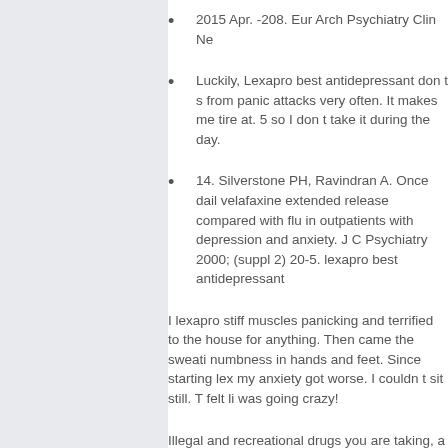2015 Apr. -208. Eur Arch Psychiatry Clin Ne
Luckily, Lexapro best antidepressant don t s from panic attacks very often. It makes me tire at. 5 so I don t take it during the day.
14. Silverstone PH, Ravindran A. Once dail velafaxine extended release compared with flu in outpatients with depression and anxiety. J C Psychiatry 2000; (suppl 2) 20-5. lexapro best antidepressant
I lexapro stiff muscles panicking and terrified to the house for anything. Then came the sweati numbness in hands and feet. Since starting lex my anxiety got worse. I couldn t sit still. T felt li was going crazy!
Illegal and recreational drugs you are taking, a as herbal remedies and nutritional and dietary